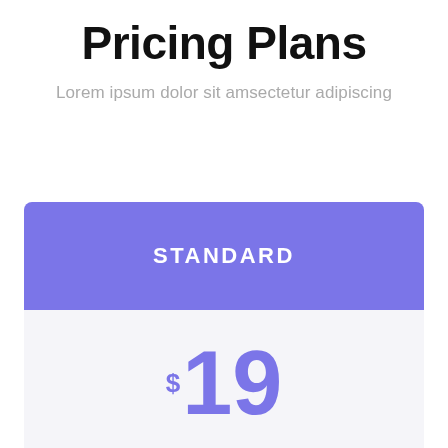Pricing Plans
Lorem ipsum dolor sit amsectetur adipiscing
STANDARD
$19
11 Projects